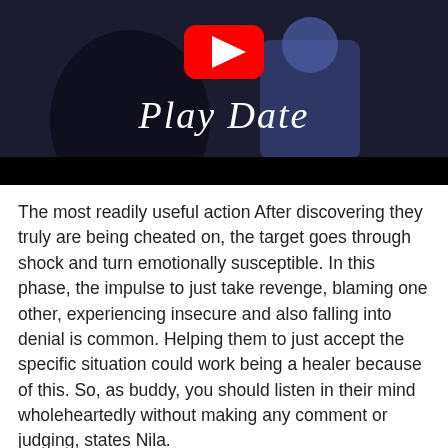[Figure (screenshot): YouTube video thumbnail showing 'Play Date' title text in italic script over a dark scene with animated characters. A YouTube play button icon (red rectangle with white triangle) appears at the top center. A black bar runs along the bottom of the thumbnail.]
The most readily useful action After discovering they truly are being cheated on, the target goes through shock and turn emotionally susceptible. In this phase, the impulse to just take revenge, blaming one other, experiencing insecure and also falling into denial is common. Helping them to just accept the specific situation could work being a healer because of this. So, as buddy, you should listen in their mind wholeheartedly without making any comment or judging, states Nila.